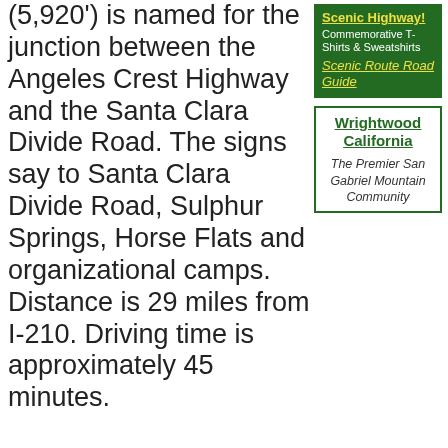(5,920') is named for the junction between the Angeles Crest Highway and the Santa Clara Divide Road. The signs say to Santa Clara Divide Road, Sulphur Springs, Horse Flats and organizational camps. Distance is 29 miles from I-210. Driving time is approximately 45 minutes.
[Figure (other): Green advertisement box with yellow underlined heading 'Scenic Highway!' and text 'Commemorative T-Shirts & Sweatshirts' and italic yellow underlined link 'Scenic Route Road Guide']
[Figure (other): Green-bordered box with bold green underlined heading 'Wrightwood California' and italic text 'The Premier San Gabriel Mountain Community']